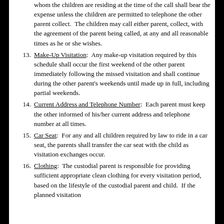whom the children are residing at the time of the call shall bear the expense unless the children are permitted to telephone the other parent collect. The children may call either parent, collect, with the agreement of the parent being called, at any and all reasonable times as he or she wishes.
13. Make-Up Visitation: Any make-up visitation required by this schedule shall occur the first weekend of the other parent immediately following the missed visitation and shall continue during the other parent's weekends until made up in full, including partial weekends.
14. Current Address and Telephone Number: Each parent must keep the other informed of his/her current address and telephone number at all times.
15. Car Seat: For any and all children required by law to ride in a car seat, the parents shall transfer the car seat with the child as visitation exchanges occur.
16. Clothing: The custodial parent is responsible for providing sufficient appropriate clean clothing for every visitation period, based on the lifestyle of the custodial parent and child. If the planned visitation